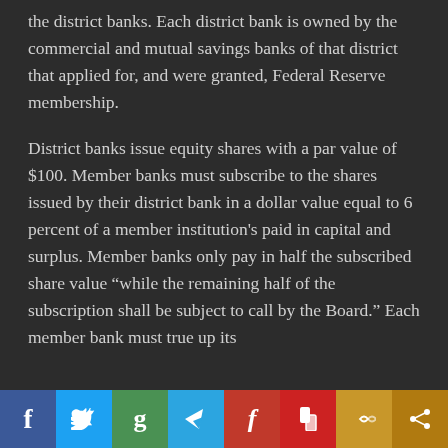the district banks. Each district bank is owned by the commercial and mutual savings banks of that district that applied for, and were granted, Federal Reserve membership.
District banks issue equity shares with a par value of $100. Member banks must subscribe to the shares issued by their district bank in a dollar value equal to 6 percent of a member institution's paid in capital and surplus. Member banks only pay in half the subscribed share value “while the remaining half of the subscription shall be subject to call by the Board.” Each member bank must true up its
[Figure (other): Social media sharing toolbar with icons for Facebook, Twitter, Goodreads, Telegram, Flipboard, Pocket, chain-link, and share buttons]